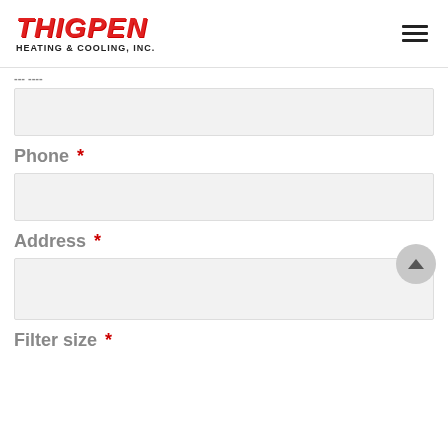[Figure (logo): Thigpen Heating & Cooling, Inc. logo in red bold italic text with black subtitle]
...
Phone *
Address *
Filter size *